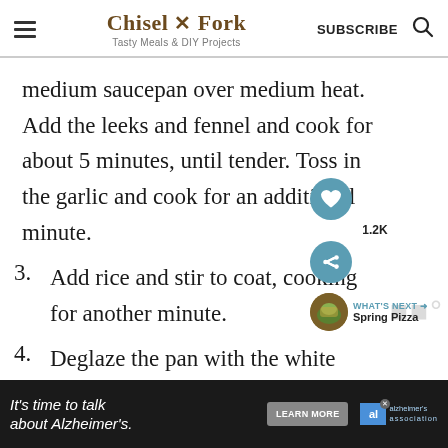Chisel & Fork — Tasty Meals & DIY Projects | SUBSCRIBE
medium saucepan over medium heat. Add the leeks and fennel and cook for about 5 minutes, until tender. Toss in the garlic and cook for an additional minute.
3. Add rice and stir to coat, cooking for another minute.
4. Deglaze the pan with the white
[Figure (other): Floating social share sidebar with heart icon (1.2K saves) and share icon, plus a What's Next thumbnail linking to Spring Pizza]
[Figure (other): Advertisement banner: It's time to talk about Alzheimer's. LEARN MORE. Alzheimer's Association logo.]